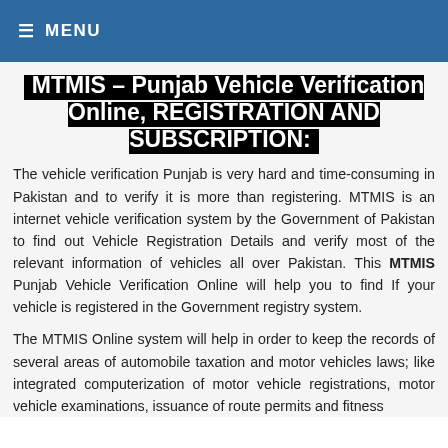≡ MENU
MTMIS – Punjab Vehicle Verification Online, REGISTRATION AND SUBSCRIPTION:
The vehicle verification Punjab is very hard and time-consuming in Pakistan and to verify it is more than registering. MTMIS is an internet vehicle verification system by the Government of Pakistan to find out Vehicle Registration Details and verify most of the relevant information of vehicles all over Pakistan. This MTMIS Punjab Vehicle Verification Online will help you to find If your vehicle is registered in the Government registry system.
The MTMIS Online system will help in order to keep the records of several areas of automobile taxation and motor vehicles laws; like integrated computerization of motor vehicle registrations, motor vehicle examinations, issuance of route permits and fitness certificates and payment of vehicle taxes from anywhere.